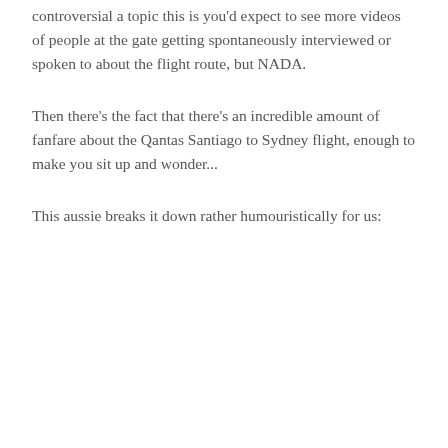controversial a topic this is you'd expect to see more videos of people at the gate getting spontaneously interviewed or spoken to about the flight route, but NADA.
Then there's the fact that there's an incredible amount of fanfare about the Qantas Santiago to Sydney flight, enough to make you sit up and wonder...
This aussie breaks it down rather humouristically for us: